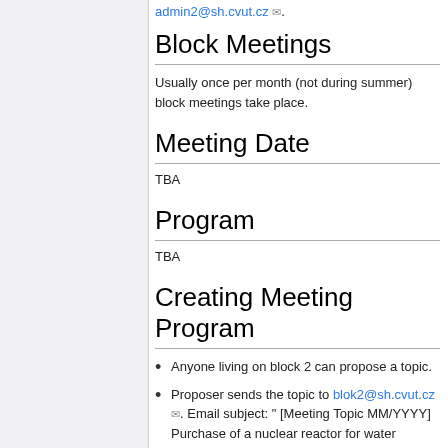admin2@sh.cvut.cz .
Block Meetings
Usually once per month (not during summer) block meetings take place.
Meeting Date
TBA
Program
TBA
Creating Meeting Program
Anyone living on block 2 can propose a topic.
Proposer sends the topic to blok2@sh.cvut.cz . Email subject: " [Meeting Topic MM/YYYY] Purchase of a nuclear reactor for water heating".Email must include the name of the propser. Email should include detailed description